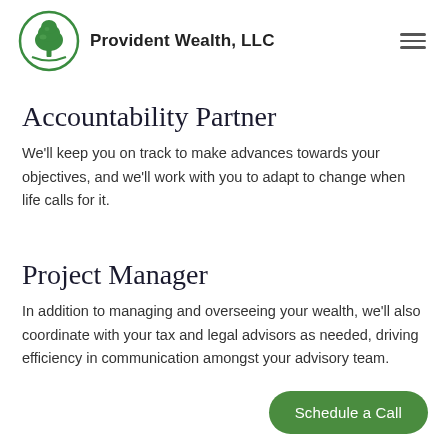Provident Wealth, LLC
Accountability Partner
We'll keep you on track to make advances towards your objectives, and we'll work with you to adapt to change when life calls for it.
Project Manager
In addition to managing and overseeing your wealth, we'll also coordinate with your tax and legal advisors as needed, driving efficiency in communication amongst your advisory team.
Schedule a Call